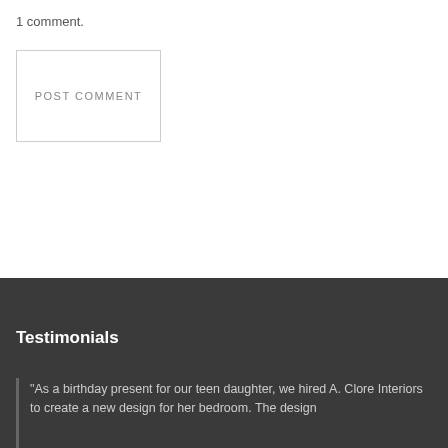1 comment.
POST COMMENT
Testimonials
"As a birthday present for our teen daughter, we hired A. Clore Interiors to create a new design for her bedroom. The design